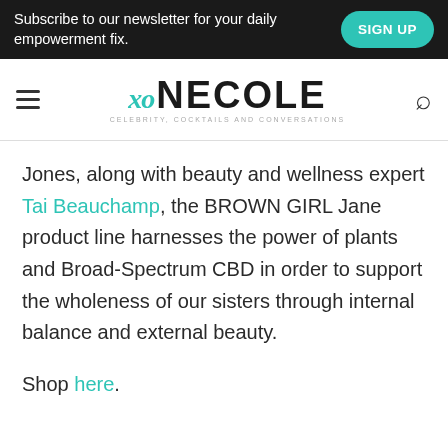Subscribe to our newsletter for your daily empowerment fix.  SIGN UP
[Figure (logo): XO Necole logo with hamburger menu on left and search icon on right]
Jones, along with beauty and wellness expert Tai Beauchamp, the BROWN GIRL Jane product line harnesses the power of plants and Broad-Spectrum CBD in order to support the wholeness of our sisters through internal balance and external beauty.

Shop here.